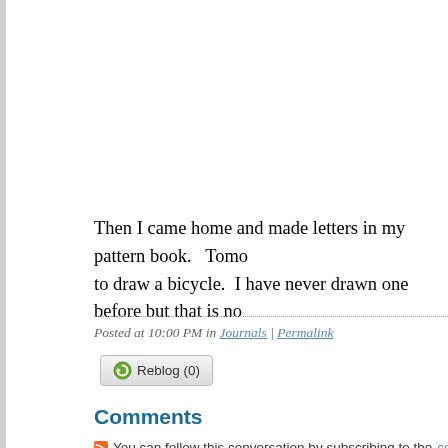Then I came home and made letters in my pattern book.   Tomo to draw a bicycle.  I have never drawn one before but that is no
Posted at 10:00 PM in Journals | Permalink
[Figure (other): Reblog (0) button with circular arrow icon]
Comments
You can follow this conversation by subscribing to the comment feed for th
[Figure (illustration): Green geometric star/sunburst pattern avatar icon]
Hey Carol, isn't it July 31st today?!
I love looking at your journal pages!

Posted by: Debbie J | 07/31/2013 at 10:09 PM